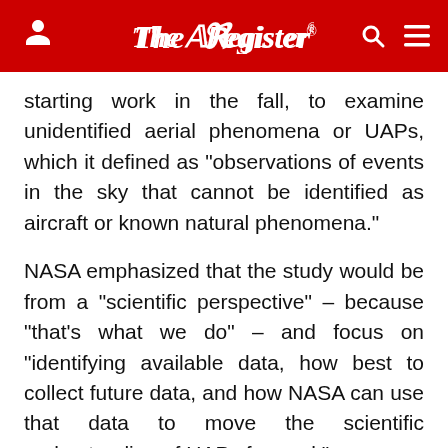The Register
starting work in the fall, to examine unidentified aerial phenomena or UAPs, which it defined as "observations of events in the sky that cannot be identified as aircraft or known natural phenomena."
NASA emphasized that the study would be from a "scientific perspective" – because "that's what we do" – and focus on "identifying available data, how best to collect future data, and how NASA can use that data to move the scientific understanding of UAPs forward."